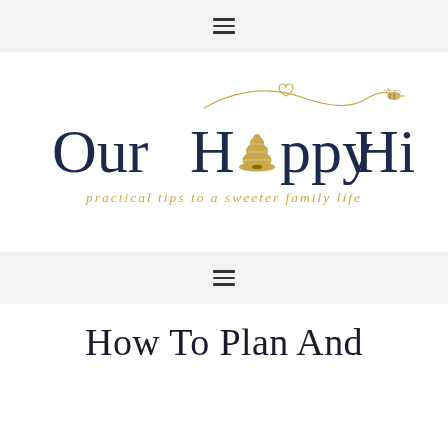≡
[Figure (logo): Our Happy Hive logo — dark navy serif text reading 'Our Happy Hive' with a golden beehive replacing the letter 'a' in Happy, a decorative golden swirling line with a heart and a bee, and the tagline 'practical tips to a sweeter family life' in gold italic text below]
≡
How To Plan And